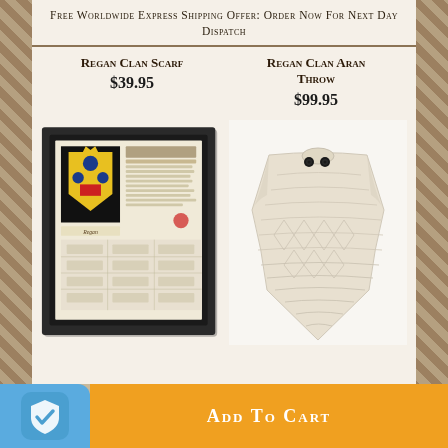Free Worldwide Express Shipping Offer: Order Now For Next Day Dispatch
Regan Clan Scarf
$39.95
Regan Clan Aran Throw
$99.95
[Figure (photo): Framed Regan clan heraldry print with coat of arms and historical document]
[Figure (photo): Cream/beige knitted Aran throw/poncho with two dark buttons]
Add to Cart